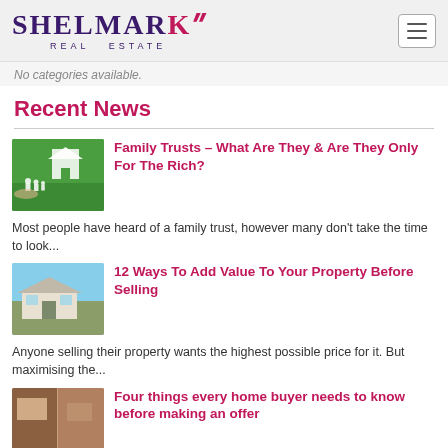SHELMARK REAL ESTATE
No categories available.
Recent News
[Figure (photo): Hand holding white cutout house and family figures on green grass background]
Family Trusts – What Are They & Are They Only For The Rich?
Most people have heard of a family trust, however many don't take the time to look...
[Figure (photo): Exterior of a small white house with garden]
12 Ways To Add Value To Your Property Before Selling
Anyone selling their property wants the highest possible price for it. But maximising the...
[Figure (photo): Interior room photo]
Four things every home buyer needs to know before making an offer